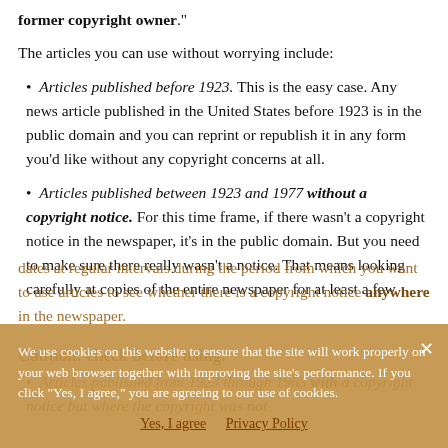former copyright owner."
The articles you can use without worrying include:
Articles published before 1923. This is the easy case. Any news article published in the United States before 1923 is in the public domain and you can reprint or republish it in any form you’d like without any copyright concerns at all.
Articles published between 1923 and 1977 without a copyright notice. For this time frame, if there wasn’t a copyright notice in the newspaper, it’s in the public domain. But you need to make sure there really wasn’t a notice. That means looking carefully at copies of the entire newspaper for at least a few dates at regular intervals during the period from which you want to use articles to see whether there is a copyright notice anywhere in the newspaper.
Caution: check before using.
Articles published from 1923 through 1963 with a copyright notice but where the copyright was not renewed.